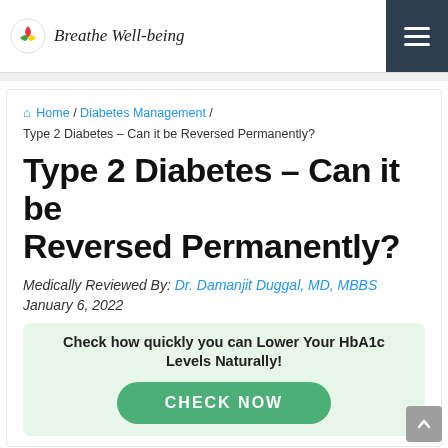Breathe Well-being
Home / Diabetes Management / Type 2 Diabetes – Can it be Reversed Permanently?
Type 2 Diabetes – Can it be Reversed Permanently?
Medically Reviewed By: Dr. Damanjit Duggal, MD, MBBS
January 6, 2022
Check how quickly you can Lower Your HbA1c Levels Naturally!
CHECK NOW